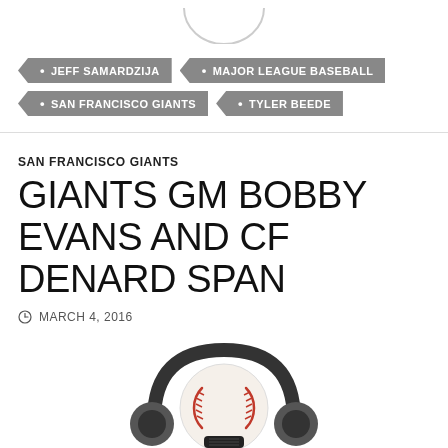[Figure (logo): Partial logo at top center (bottom portion visible)]
JEFF SAMARDZIJA
MAJOR LEAGUE BASEBALL
SAN FRANCISCO GIANTS
TYLER BEEDE
SAN FRANCISCO GIANTS
GIANTS GM BOBBY EVANS AND CF DENARD SPAN
MARCH 4, 2016
[Figure (illustration): Baseball with headphones podcast icon illustration]